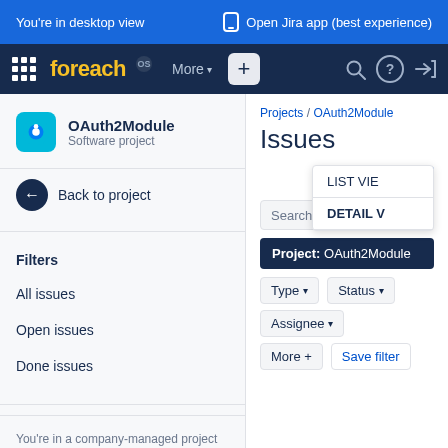You're in desktop view | Open Jira app (best experience)
foreach OS | More | + | Search | Help | Login
OAuth2Module
Software project
Back to project
Filters
All issues
Open issues
Done issues
You're in a company-managed project
Projects / OAuth2Module
Issues
Export
Issu
LIST VIE...
DETAIL V...
Search issues
Project: OAuth2Module
Type ▾   Status ▾
Assignee ▾
More +   Save filter